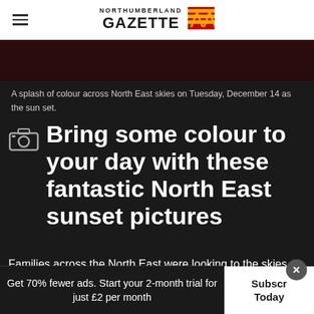NORTHUMBERLAND GAZETTE
[Figure (photo): Dark partial image of a sunset sky, cropped at top of page]
A splash of colour across North East skies on Tuesday, December 14 as the sun set.
Bring some colour to your day with these fantastic North East sunset pictures
Families across the North East were looking to the skies on Tuesday, December 14 as the
Get 70% fewer ads. Start your 2-month trial for just £2 per month